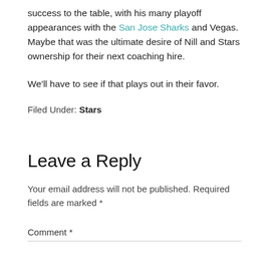success to the table, with his many playoff appearances with the San Jose Sharks and Vegas. Maybe that was the ultimate desire of Nill and Stars ownership for their next coaching hire.
We'll have to see if that plays out in their favor.
Filed Under: Stars
Leave a Reply
Your email address will not be published. Required fields are marked *
Comment *